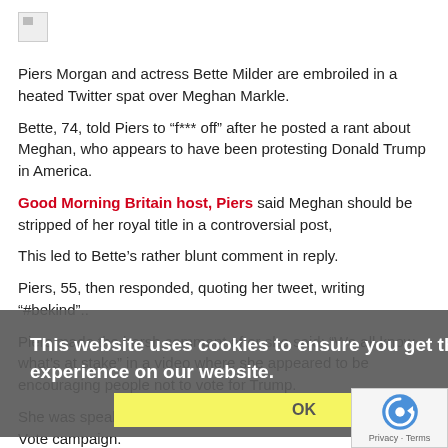[Figure (photo): Broken image placeholder thumbnail]
Piers Morgan and actress Bette Milder are embroiled in a heated Twitter spat over Meghan Markle.
Bette, 74, told Piers to “f*** off” after he posted a rant about Meghan, who appears to have been protesting Donald Trump in America.
Good Morning Britain host, Piers said Meghan should be stripped of her royal title in a controversial post,
This led to Bette’s rather blunt comment in reply.
Piers, 55, then responded, quoting her tweet, writing “#bekind”..
Piers made the harsh comment after she said: “We all know what’s at stake” in a video where she appeared to be encouraging people not to vote for Trump.
She was speaking as part of Michelle Obama’s When We All Vote campaign.
Read More
This website uses cookies to ensure you get the best experience on our website.
OK